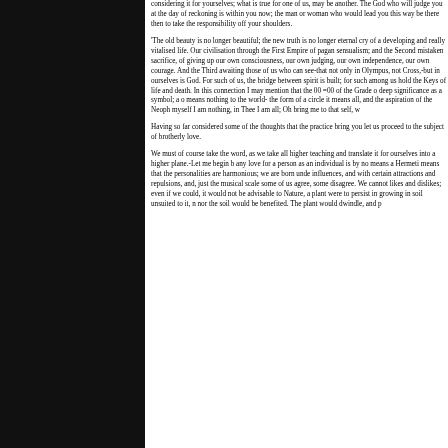considering it for yourselves; what is true for one of us, may be another. The God who will judge you at the day of reckoning is within you now; the man or woman who would lead you this way be there then to take the responsibility off your shoulders.
'The old beauty is no longer beautiful; the new truth is no longer eternal cry of a developing and really vitalised life. Our civilisation through the First Empire of pagan sensualism; and the Second mistaken sacrifice, of giving up our own consciousness, our own judging, our own independence, our own courage. And the Third awaiting those of us who can see-that not only in Olympus, not Cross,-but in ourselves is God. For such of us, the bridge between spirit is built; for such among us hold the Keys of life and death. In this connection I may mention that the 00 =00 of the Grade o deep significance as a symbol; a o means nothing to the world- the form of a circle it means all, and the aspiration of the Neoph myself I am nothing, in Thee I am all; Oh bring me to that self, w
Having so far considered some of the thoughts that the practice bring you let us proceed to the subject of brotherly love.
We must of course take the word, as we take all higher teaching and translate it for ourselves into a higher plane.-Let me begin b any love for a person as an individual is by no means a Hermeti means that the personalities are harmonious; we are born unde influences, and with certain attractions and repulsions, and, just the musical scale some of us agree, some disagree. We cannot likes and dislikes; even if we could, it would not be advisable to Nature, a plant were to persist in growing in soil unsuited to it, n nor the soil would be benefited. The plant would dwindle, and p